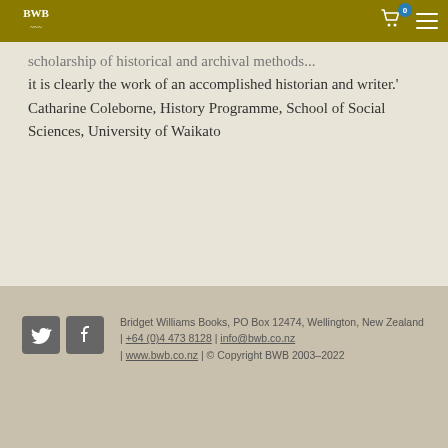BWB logo, cart icon with 0, hamburger menu
scholarship of historical and archival methods... it is clearly the work of an accomplished historian and writer.' Catharine Coleborne, History Programme, School of Social Sciences, University of Waikato
Bridget Williams Books, PO Box 12474, Wellington, New Zealand | +64 (0)4 473 8128 | info@bwb.co.nz | www.bwb.co.nz | © Copyright BWB 2003-2022